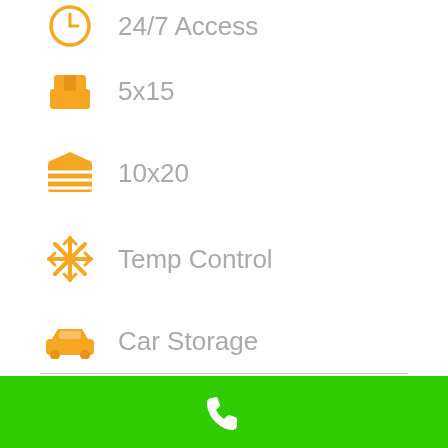24/7 Access
5x15
10x20
Temp Control
Car Storage
Panda Self Storage is Proud to be Glendale's #1 Storage Unit Facility
We're confident our storage units will provide you with the best in self storage. We offer deals for our members and